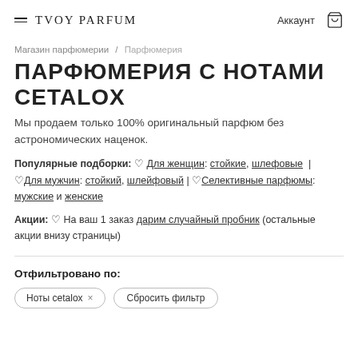= TVOY PARFUM   Аккаунт [cart]
Магазин парфюмерии / Парфюмерия
ПАРФЮМЕРИЯ С НОТАМИ CETALOX
Мы продаем только 100% оригинальный парфюм без астрономических наценок.
Популярные подборки: 🌸 Для женщин: стойкие, шлефовые | 🌿Для мужчин: стойкий, шлейфовый | 💎Селективные парфюмы: мужские и женские
Акции: 🎁 На ваш 1 заказ дарим случайный пробник (остальные акции внизу страницы)
Отфильтровано по:
Ноты cetalox × | Сбросить фильтр